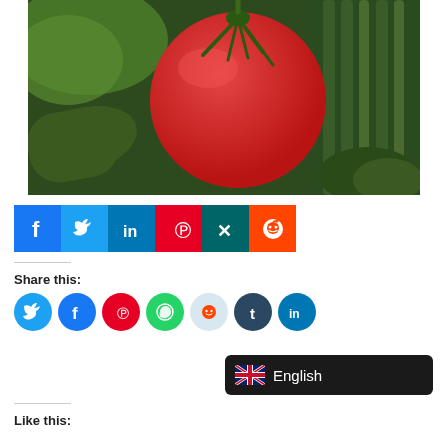[Figure (photo): Close-up photo of a red tomato with stem surrounded by green vegetables including zucchini, asparagus, broccoli, and lettuce]
[Figure (infographic): Row of six social media share buttons: Facebook (dark blue), Twitter (light blue), LinkedIn (medium blue), Pinterest (red), Xing (teal), Reddit (red)]
Share this:
[Figure (infographic): Row of seven circular social share buttons: Twitter (blue), Facebook (dark blue), Pinterest (red), WhatsApp (green), Reddit (light grey-blue), Tumblr (dark navy), LinkedIn (blue)]
[Figure (infographic): Language selector badge showing UK flag and text 'English' on dark background]
Like this: